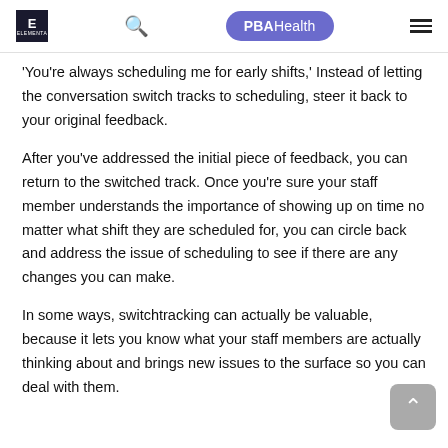E | Q | PBAHealth | ≡
'You're always scheduling me for early shifts,' Instead of letting the conversation switch tracks to scheduling, steer it back to your original feedback.
After you've addressed the initial piece of feedback, you can return to the switched track. Once you're sure your staff member understands the importance of showing up on time no matter what shift they are scheduled for, you can circle back and address the issue of scheduling to see if there are any changes you can make.
In some ways, switchtracking can actually be valuable, because it lets you know what your staff members are actually thinking about and brings new issues to the surface so you can deal with them.